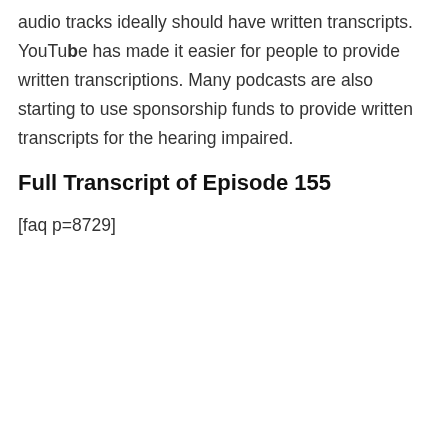audio tracks ideally should have written transcripts. YouTube has made it easier for people to provide written transcriptions. Many podcasts are also starting to use sponsorship funds to provide written transcripts for the hearing impaired.
Full Transcript of Episode 155
[faq p=8729]